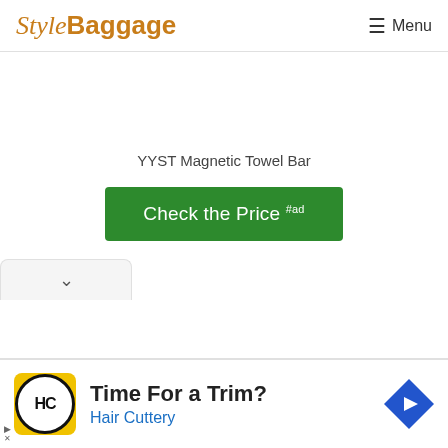StyleBaggage  Menu
YYST Magnetic Towel Bar
Check the Price #ad
[Figure (other): Advertisement for Hair Cuttery with yellow logo, text 'Time For a Trim?' and 'Hair Cuttery', and a blue diamond-shaped arrow icon.]